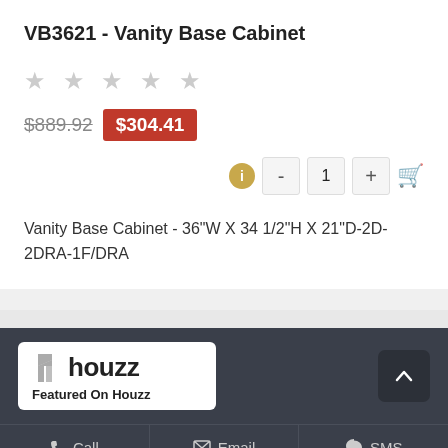VB3621 - Vanity Base Cabinet
★ ★ ★ ★ ★ (5 empty stars rating)
$889.92  $304.41
Vanity Base Cabinet - 36"W X 34 1/2"H X 21"D-2D-2DRA-1F/DRA
[Figure (logo): Houzz logo badge with text 'Featured On Houzz']
Call  Email  SMS